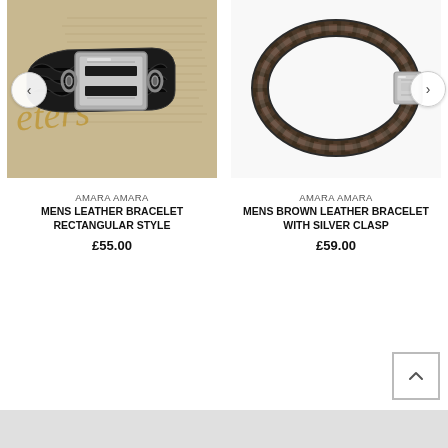[Figure (photo): Mens black braided leather bracelet with rectangular silver metallic clasp on a paper/book background]
AMARA AMARA
MENS LEATHER BRACELET RECTANGULAR STYLE
£55.00
[Figure (photo): Mens brown braided leather bracelet with silver clasp on white background]
AMARA AMARA
MENS BROWN LEATHER BRACELET WITH SILVER CLASP
£59.00